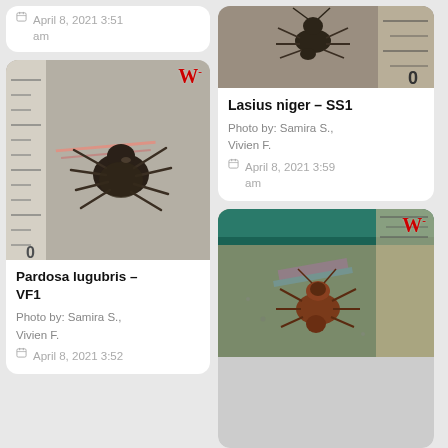April 8, 2021 3:51 am
[Figure (photo): Close-up photo of a spider (Pardosa lugubris) on a ruler scale with W logo watermark]
Pardosa lugubris – VF1
Photo by: Samira S., Vivien F.
April 8, 2021 3:52
[Figure (photo): Close-up photo of an ant (Lasius niger) viewed from above on a ruler with W logo watermark]
Lasius niger – SS1
Photo by: Samira S., Vivien F.
April 8, 2021 3:59 am
[Figure (photo): Close-up photo of an ant (Lasius niger) on rough surface with W logo watermark]